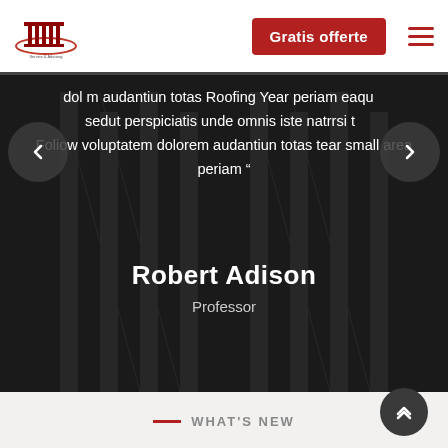Gratis offerte
[Figure (logo): Company logo with building/columns icon and red oval]
dol m audantiun totas Roofing Year periam eaqu a sedut perspiciatis unde omnis iste natrrsi tu Follow voluptatem dolorem audantiun totas tear small area periam "
Robert Adison
Professor
WHAT'S NEW